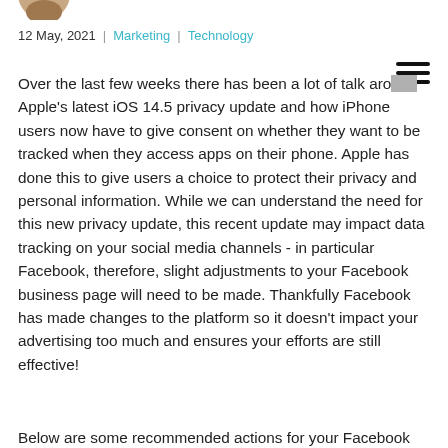[Figure (photo): Partial view of a circular avatar/profile photo at top left]
12 May, 2021 | Marketing | Technology
Over the last few weeks there has been a lot of talk around Apple's latest iOS 14.5 privacy update and how iPhone users now have to give consent on whether they want to be tracked when they access apps on their phone. Apple has done this to give users a choice to protect their privacy and personal information. While we can understand the need for this new privacy update, this recent update may impact data tracking on your social media channels - in particular Facebook, therefore, slight adjustments to your Facebook business page will need to be made. Thankfully Facebook has made changes to the platform so it doesn't impact your advertising too much and ensures your efforts are still effective!
Below are some recommended actions for your Facebook